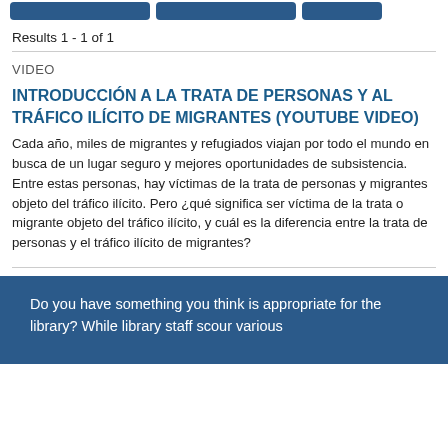[Figure (other): Three dark blue navigation/filter buttons at the top of a search results page]
Results 1 - 1 of 1
VIDEO
INTRODUCCIÓN A LA TRATA DE PERSONAS Y AL TRÁFICO ILÍCITO DE MIGRANTES (YOUTUBE VIDEO)
Cada año, miles de migrantes y refugiados viajan por todo el mundo en busca de un lugar seguro y mejores oportunidades de subsistencia. Entre estas personas, hay víctimas de la trata de personas y migrantes objeto del tráfico ilícito. Pero ¿qué significa ser víctima de la trata o migrante objeto del tráfico ilícito, y cuál es la diferencia entre la trata de personas y el tráfico ilícito de migrantes?
Do you have something you think is appropriate for the library? While library staff scour various